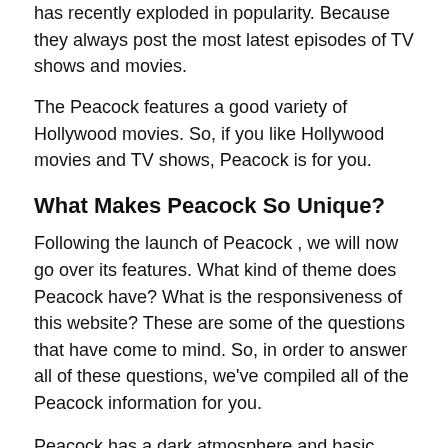has recently exploded in popularity. Because they always post the most latest episodes of TV shows and movies.
The Peacock features a good variety of Hollywood movies. So, if you like Hollywood movies and TV shows, Peacock is for you.
What Makes Peacock So Unique?
Following the launch of Peacock , we will now go over its features. What kind of theme does Peacock have? What is the responsiveness of this website? These are some of the questions that have come to mind. So, in order to answer all of these questions, we've compiled all of the Peacock information for you.
Peacock has a dark atmosphere and basic, minimalistic layouts. On certain layouts, you can scroll without being interrupted or confused.